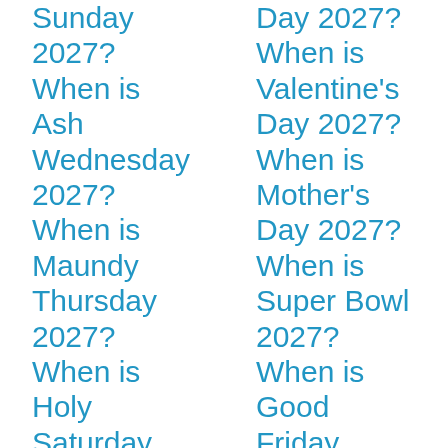Sunday 2027?
When is Ash Wednesday 2027?
When is Maundy Thursday 2027?
When is Holy Saturday
Day 2027?
When is Valentine's Day 2027?
When is Mother's Day 2027?
When is Super Bowl 2027?
When is Good Friday